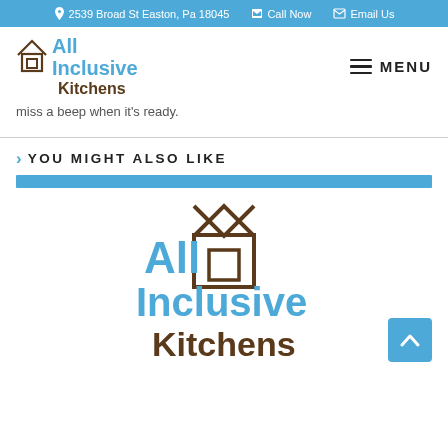2539 Broad St Easton, Pa 18045   Call Now   Email Us
[Figure (logo): All Inclusive Kitchens logo with house/window icon in top-left header]
miss a beep when it's ready.
YOU MIGHT ALSO LIKE
[Figure (logo): All Inclusive Kitchens large logo centered in bottom section with blue top bar]